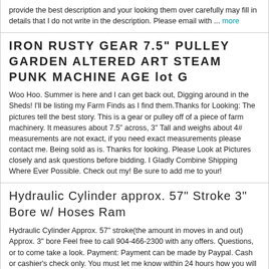provide the best description and your looking them over carefully may fill in details that I do not write in the description. Please email with ... more
IRON RUSTY GEAR 7.5" PULLEY GARDEN ALTERED ART STEAM PUNK MACHINE AGE lot G
Woo Hoo. Summer is here and I can get back out, Digging around in the Sheds! I'll be listing my Farm Finds as I find them.Thanks for Looking: The pictures tell the best story. This is a gear or pulley off of a piece of farm machinery. It measures about 7.5" across, 3" Tall and weighs about 4# measurements are not exact, if you need exact measurements please contact me. Being sold as is. Thanks for looking. Please Look at Pictures closely and ask questions before bidding. I Gladly Combine Shipping Where Ever Possible. Check out my! Be sure to add me to your!
Hydraulic Cylinder approx. 57" Stroke 3" Bore w/ Hoses Ram
Hydraulic Cylinder Approx. 57" stroke(the amount in moves in and out) Approx. 3" bore Feel free to call 904-466-2300 with any offers. Questions, or to come take a look. Payment: Payment can be made by Paypal. Cash or cashier's check only. You must let me know within 24 hours how you will pay and it must be received within 5 days of sale. If paying with Paypal, it must be received within 24 hours of sale. Shipping/Pickup: Local pickup is free. If shipping is desired you can set it up or ask me and I can get you a quote and set up shipping. The